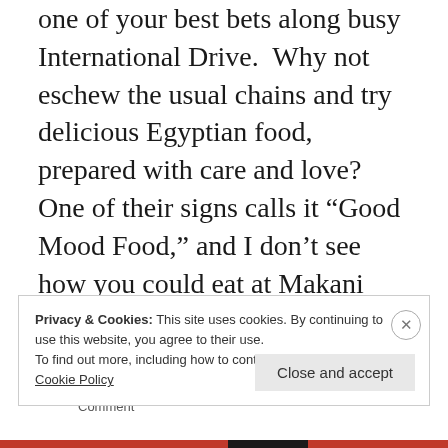one of your best bets along busy International Drive. Why not eschew the usual chains and try delicious Egyptian food, prepared with care and love? One of their signs calls it “Good Mood Food,” and I don’t see how you could eat at Makani and not be in a better mood.
The Saboscrivner / October 22, 2019 / Fries, International Drive, Meat, Middle Eastern, Vegetarian / 1 Comment
Privacy & Cookies: This site uses cookies. By continuing to use this website, you agree to their use.
To find out more, including how to control cookies, see here:
Cookie Policy